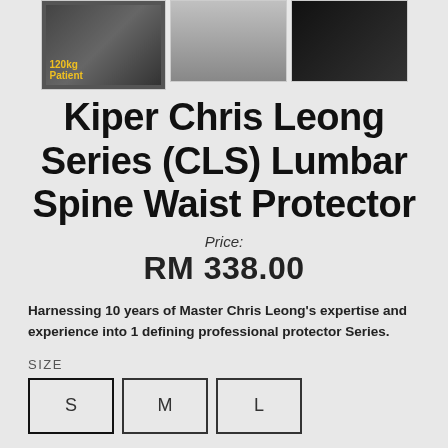[Figure (photo): Three product images: left shows a person with '120kg Patient' text overlay, middle shows a person wearing the lumbar protector, right shows the product itself (black device)]
Kiper Chris Leong Series (CLS) Lumbar Spine Waist Protector
Price: RM 338.00
Harnessing 10 years of Master Chris Leong's expertise and experience into 1 defining professional protector Series.
SIZE
S  M  L